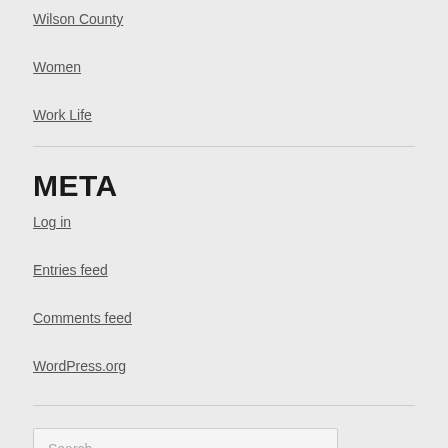Wilson County
Women
Work Life
META
Log in
Entries feed
Comments feed
WordPress.org
Search …